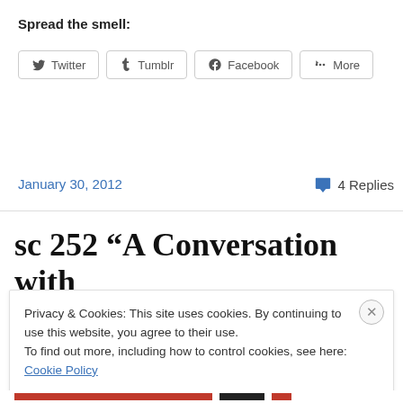Spread the smell:
[Figure (other): Social sharing buttons: Twitter, Tumblr, Facebook, More]
January 30, 2012
4 Replies
sc 252 “A Conversation with
Privacy & Cookies: This site uses cookies. By continuing to use this website, you agree to their use.
To find out more, including how to control cookies, see here: Cookie Policy
Close and accept